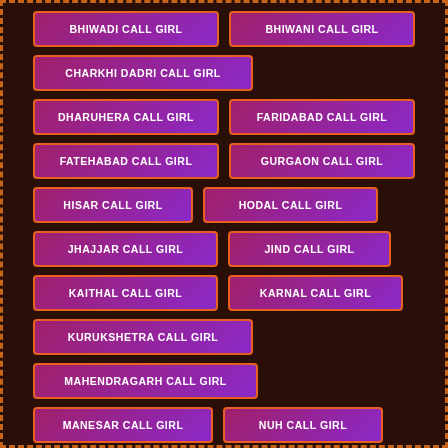BHIWADI CALL GIRL
BHIWANI CALL GIRL
CHARKHI DADRI CALL GIRL
DHARUHERA CALL GIRL
FARIDABAD CALL GIRL
FATEHABAD CALL GIRL
GURGAON CALL GIRL
HISAR CALL GIRL
HODAL CALL GIRL
JHAJJAR CALL GIRL
JIND CALL GIRL
KAITHAL CALL GIRL
KARNAL CALL GIRL
KURUKSHETRA CALL GIRL
MAHENDRAGARH CALL GIRL
MANESAR CALL GIRL
NUH CALL GIRL